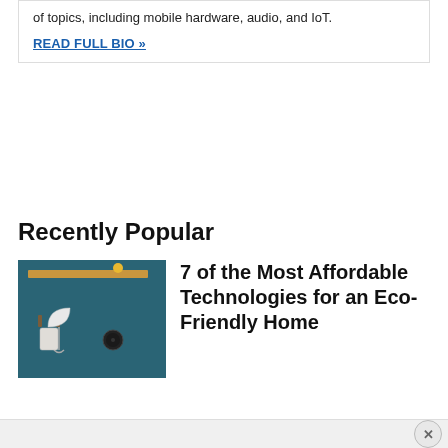of topics, including mobile hardware, audio, and IoT.
READ FULL BIO »
Recently Popular
[Figure (photo): Photo of an entryway wall with hooks holding an umbrella and bag, against a teal/dark blue background, with a wooden shelf above]
7 of the Most Affordable Technologies for an Eco-Friendly Home